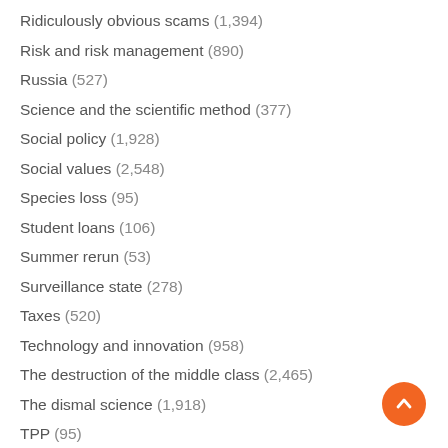Ridiculously obvious scams (1,394)
Risk and risk management (890)
Russia (527)
Science and the scientific method (377)
Social policy (1,928)
Social values (2,548)
Species loss (95)
Student loans (106)
Summer rerun (53)
Surveillance state (278)
Taxes (520)
Technology and innovation (958)
The destruction of the middle class (2,465)
The dismal science (1,918)
TPP (95)
Uber (53)
UK (481)